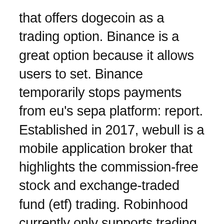that offers dogecoin as a trading option. Binance is a great option because it allows users to set. Binance temporarily stops payments from eu's sepa platform: report. Established in 2017, webull is a mobile application broker that highlights the commission-free stock and exchange-traded fund (etf) trading. Robinhood currently only supports trading for seven cryptocurrencies. When compared to the 150+ options offered by services like binance,. — binance coin (bnb). Market cap: over $56 billion. The binance coin is a form of cryptocurrency that you can use to trade and pay fees on binance Kraken follows a tiered fee schedule that is based on the 30-day trading volume of users, trading binance binance coin on webull